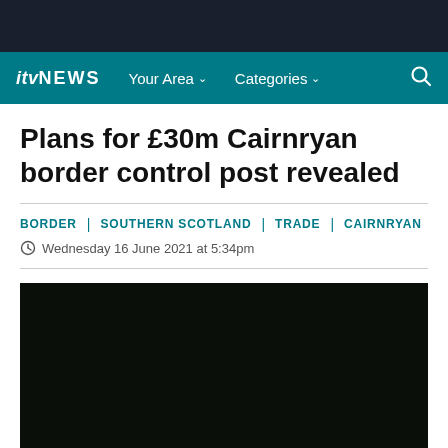ITV NEWS | Your Area | Categories
Plans for £30m Cairnryan border control post revealed
BORDER | SOUTHERN SCOTLAND | TRADE | CAIRNRYAN
Wednesday 16 June 2021 at 5:34pm
[Figure (photo): Dark/black media placeholder image for news article video]